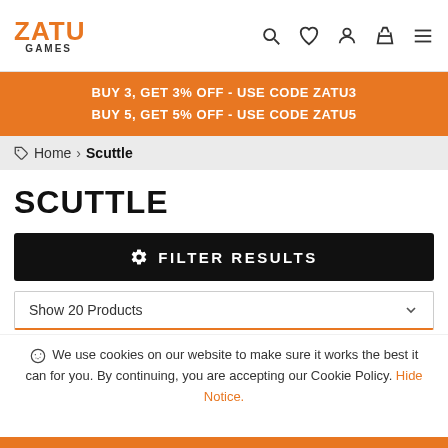ZATU GAMES — navigation header with search, wishlist, account, basket, menu icons
BUY 3, GET 3% OFF - USE CODE ZATU3
BUY 5, GET 5% OFF - USE CODE ZATU5
Home > Scuttle
SCUTTLE
FILTER RESULTS
Show 20 Products
We use cookies on our website to make sure it works the best it can for you. By continuing, you are accepting our Cookie Policy. Hide Notice.